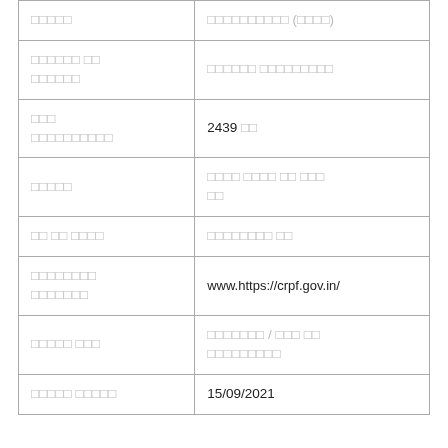| □□□□□ | □□□□□□□□□□ (□□□□) |
| □□□□□□ □□
□□□□□□ | □□□□□□ □□□□□□□□□ |
| □□□
□□□□□□□□□□ | 2439 □□ |
| □□□□□ | □□□□ □□□□ □□ □□□
□□ |
| □□ □□ □□□□ | □□□□□□□□ □□ |
| □□□□□□□□
□□□□□□□ | www.https://crpf.gov.in/ |
| □□□□□ □□□ | □□□□□□□ / □□□ □□
□□□□□□□□□ |
| □□□□□ □□□□□ | 15/09/2021 |